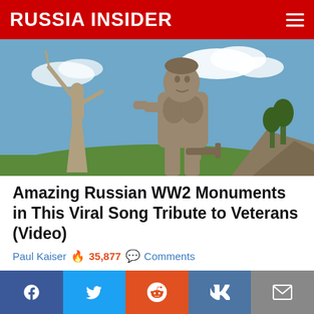RUSSIA INSIDER
[Figure (photo): Photograph of large Soviet WWII monuments/statues against a blue sky with clouds — a large female figure with raised arm in background and a muscular male soldier figure holding a weapon in foreground, Mamayev Kurgan, Volgograd]
Amazing Russian WW2 Monuments in This Viral Song Tribute to Veterans (Video)
Paul Kaiser  🔥 35,877  💬 Comments
[Figure (logo): Russia Insider red banner logo]
Social share bar: Facebook, Twitter, Reddit, VK, Email